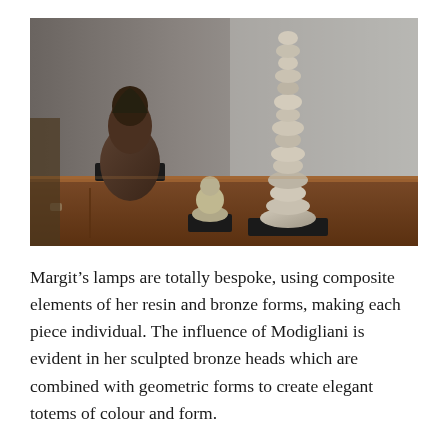[Figure (photo): Photograph of several sculptures arranged on a wooden dresser or sideboard. The sculptures include a dark bronze bust of a face, a tall stacked-stone totem sculpture, and a small rounded figurine, all mounted on black bases. The background is a light grey wall.]
Margit's lamps are totally bespoke, using composite elements of her resin and bronze forms, making each piece individual. The influence of Modigliani is evident in her sculpted bronze heads which are combined with geometric forms to create elegant totems of colour and form.